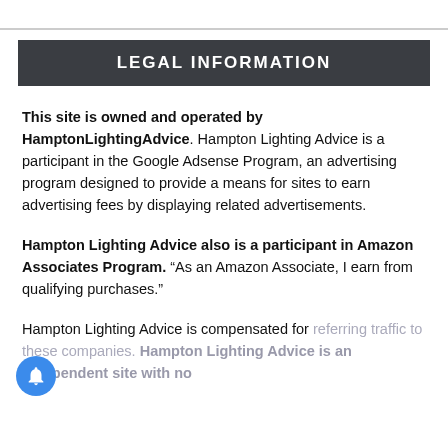LEGAL INFORMATION
This site is owned and operated by HamptonLightingAdvice. Hampton Lighting Advice is a participant in the Google Adsense Program, an advertising program designed to provide a means for sites to earn advertising fees by displaying related advertisements.
Hampton Lighting Advice also is a participant in Amazon Associates Program. “As an Amazon Associate, I earn from qualifying purchases.”
Hampton Lighting Advice is compensated for referring traffic to these companies. Hampton Lighting Advice is an independent site with no connections to Hampton Brand Inc or any related...